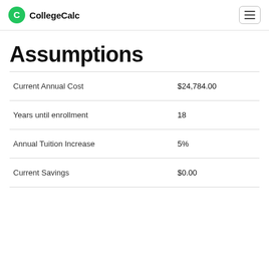CollegeCalc
Assumptions
|  |  |
| --- | --- |
| Current Annual Cost | $24,784.00 |
| Years until enrollment | 18 |
| Annual Tuition Increase | 5% |
| Current Savings | $0.00 |